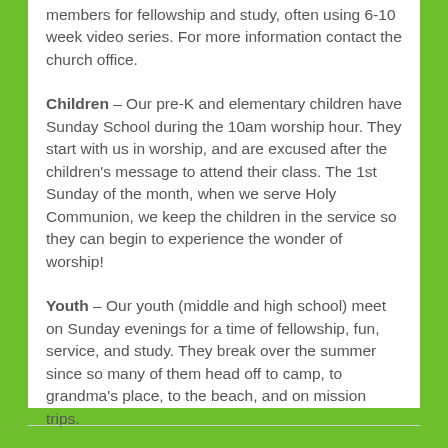members for fellowship and study, often using 6-10 week video series. For more information contact the church office.
Children – Our pre-K and elementary children have Sunday School during the 10am worship hour. They start with us in worship, and are excused after the children's message to attend their class. The 1st Sunday of the month, when we serve Holy Communion, we keep the children in the service so they can begin to experience the wonder of worship!
Youth – Our youth (middle and high school) meet on Sunday evenings for a time of fellowship, fun, service, and study. They break over the summer since so many of them head off to camp, to grandma's place, to the beach, and on mission trips.